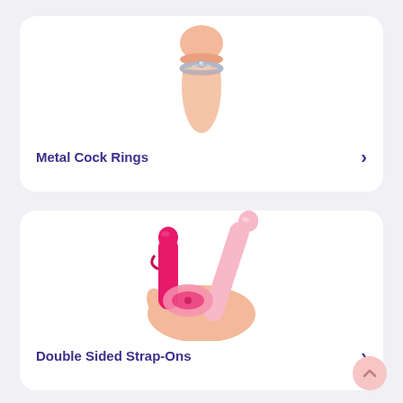[Figure (photo): A metal cock ring placed on a realistic skin-tone phallus, centered on white background]
Metal Cock Rings
[Figure (photo): A hand holding two adult toys: a hot pink G-spot vibrator and a light pink double-ended dildo, with a pink strap-on harness piece]
Double Sided Strap-Ons